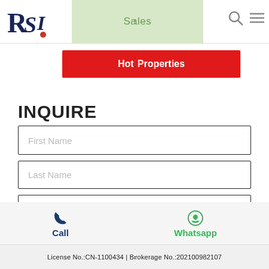[Figure (logo): RSI logo with stylized R and S letters and a red dot]
Sales
Hot Properties
INQUIRE
First Name
Last Name
Email Address
Call   Whatsapp
License No.:CN-1100434 | Brokerage No.:202100982107